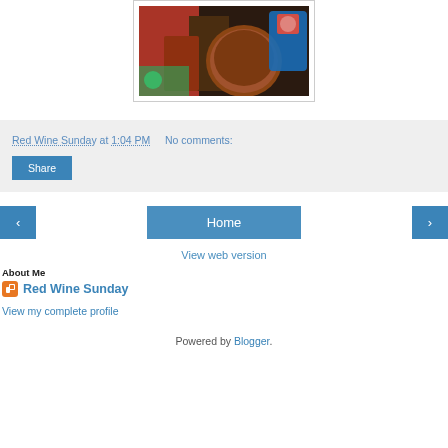[Figure (photo): Photo of drinks/bottles with colorful labels on a surface, cropped at top]
Red Wine Sunday at 1:04 PM   No comments:
Share
‹   Home   ›
View web version
About Me
Red Wine Sunday
View my complete profile
Powered by Blogger.